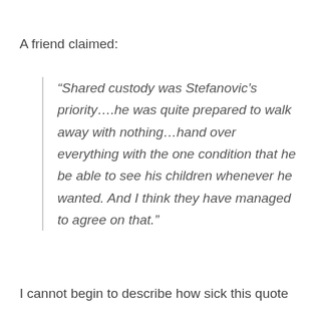A friend claimed:
“Shared custody was Stefanovic’s priority….he was quite prepared to walk away with nothing…hand over everything with the one condition that he be able to see his children whenever he wanted. And I think they have managed to agree on that.”
I cannot begin to describe how sick this quote